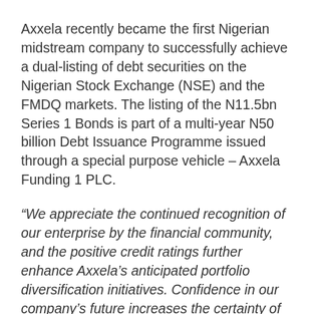Axxela recently became the first Nigerian midstream company to successfully achieve a dual-listing of debt securities on the Nigerian Stock Exchange (NSE) and the FMDQ markets. The listing of the N11.5bn Series 1 Bonds is part of a multi-year N50 billion Debt Issuance Programme issued through a special purpose vehicle – Axxela Funding 1 PLC.
“We appreciate the continued recognition of our enterprise by the financial community, and the positive credit ratings further enhance Axxela’s anticipated portfolio diversification initiatives. Confidence in our company’s future increases the certainty of access to capital markets, which are critical to our continued growth and midterm regional expansion strategy,” said Timothy Ononiwu,